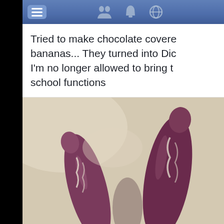[Figure (screenshot): Mobile phone screenshot of a Facebook/social media post showing text and a photo of chocolate covered bananas that look inappropriate. The top has a blue navigation bar with menu button and icons. Below is white background with post text, followed by a photo of chocolate dipped bananas arranged in a suggestive way on a light background.]
Tried to make chocolate covered bananas... They turned into Dic I'm no longer allowed to bring t school functions